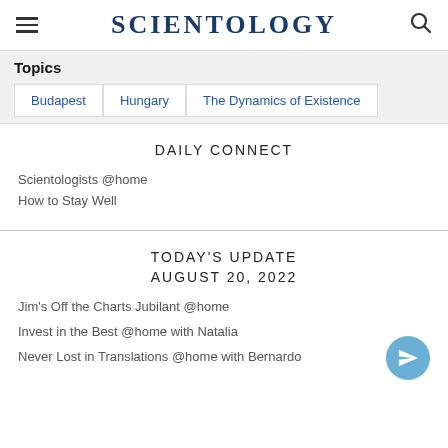SCIENTOLOGY
Topics
Budapest
Hungary
The Dynamics of Existence
DAILY CONNECT
Scientologists @home
How to Stay Well
TODAY'S UPDATE
AUGUST 20, 2022
Jim's Off the Charts Jubilant @home
Invest in the Best @home with Natalia
Never Lost in Translations @home with Bernardo